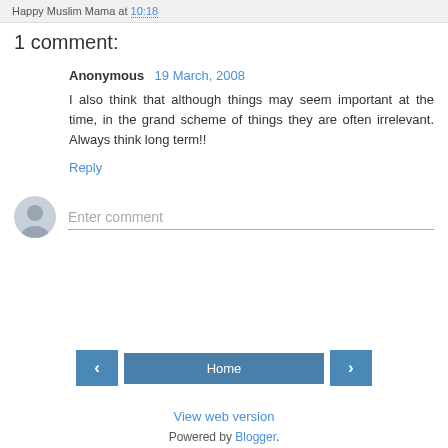Happy Muslim Mama at 10:18
1 comment:
Anonymous  19 March, 2008
I also think that although things may seem important at the time, in the grand scheme of things they are often irrelevant. Always think long term!!
Reply
Enter comment
Home
View web version
Powered by Blogger.